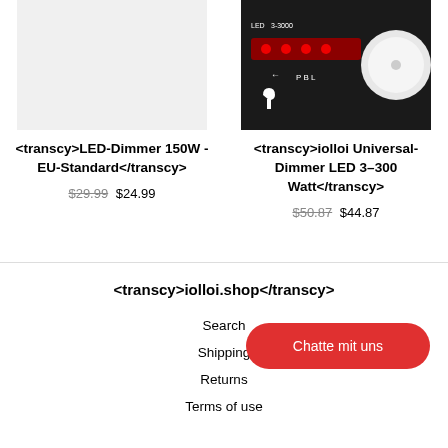[Figure (photo): Left product image: white/light grey empty product photo placeholder for LED-Dimmer 150W]
<transcy>LED-Dimmer 150W - EU-Standard</transcy>
$29.99 $24.99
[Figure (photo): Right product image: black dimmer module with LED indicators and a white rotary knob]
<transcy>iolloi Universal-Dimmer LED 3–300 Watt</transcy>
$50.87 $44.87
<transcy>iolloi.shop</transcy>
Search
Shipping
Returns
Terms of use